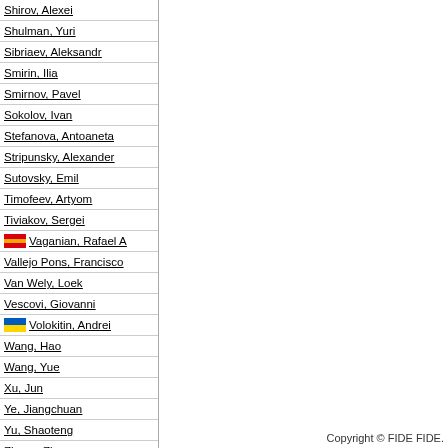Shirov, Alexei
Shulman, Yuri
Sibriaev, Aleksandr
Smirin, Ilia
Smirnov, Pavel
Sokolov, Ivan
Stefanova, Antoaneta
Stripunsky, Alexander
Sutovsky, Emil
Timofeev, Artyom
Tiviakov, Sergei
Vaganian, Rafael A
Vallejo Pons, Francisco
Van Wely, Loek
Vescovi, Giovanni
Volokitin, Andrei
Wang, Hao
Wang, Yue
Xu, Jun
Ye, Jiangchuan
Yu, Shaoteng
Zhang, Zhong
Zhao, Yun
Zvjaginsev, Vadim
Copyright © FIDE FIDE.